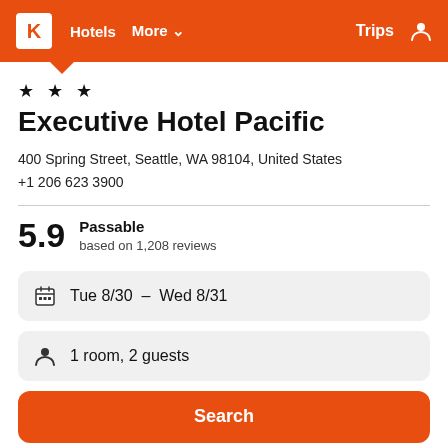K  Hotels  More  Trips
★ ★ ★
Executive Hotel Pacific
400 Spring Street, Seattle, WA 98104, United States
+1 206 623 3900
5.9  Passable
based on 1,208 reviews
Tue 8/30  –  Wed 8/31
1 room, 2 guests
Search